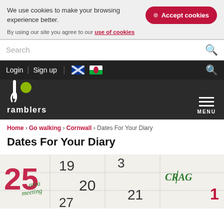We use cookies to make your browsing experience better.
Accept cookies
By using our site you agree to our use of cookies
Search
Login  Sign up
[Figure (logo): Ramblers logo: white walking figure with yellow-green circle, text 'ramblers' below]
MENU
Home › Go walking › Cornwall › Dates For Your Diary
Dates For Your Diary
[Figure (photo): Close-up of a calendar page showing handwritten notes including 'area meeting' in green ink and 'CRAG' in green, with printed numbers 25, 19, 3, 20, 21, 27 visible, some in red]